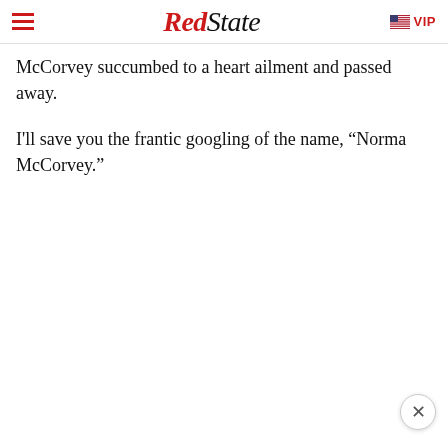RedState | VIP
McCorvey succumbed to a heart ailment and passed away.
I'll save you the frantic googling of the name, “Norma McCorvey.”